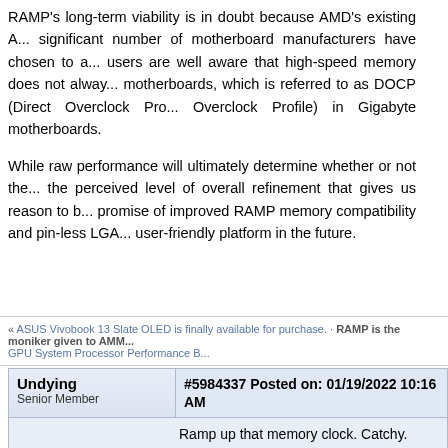RAMP's long-term viability is in doubt because AMD's existing A... significant number of motherboard manufacturers have chosen to a... users are well aware that high-speed memory does not alway... motherboards, which is referred to as DOCP (Direct Overclock Pro... Overclock Profile) in Gigabyte motherboards. While raw performance will ultimately determine whether or not the... the perceived level of overall refinement that gives us reason to b... promise of improved RAMP memory compatibility and pin-less LGA... user-friendly platform in the future.
« ASUS Vivobook 13 Slate OLED is finally available for purchase. · RAMP is the moniker given to AMM... GPU System Processor Performance B...
#5984337 Posted on: 01/19/2022 10:16 AM
Undying
Senior Member
Ramp up that memory clock. Catchy.